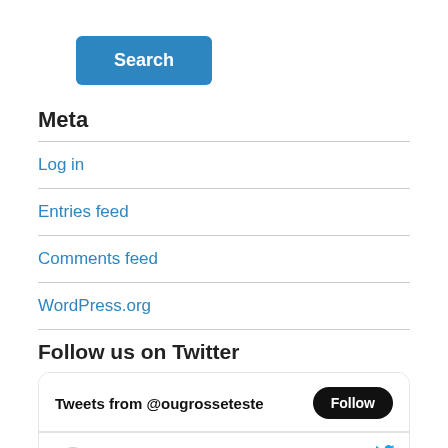[Figure (other): Blue Search button with white bold text]
Meta
Log in
Entries feed
Comments feed
WordPress.org
Follow us on Twitter
[Figure (screenshot): Twitter widget showing Tweets from @ougrosseteste with Follow button and a tweet from Ordered Uni... @ougro... Aug 19, 2021 with OuNet Access Week 2021 text]